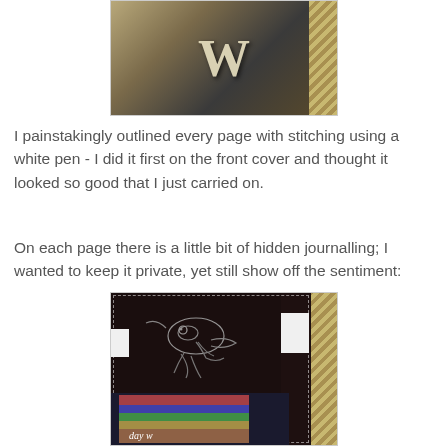[Figure (photo): Close-up photo of a decorative scrapbook cover featuring a large ornate letter W with patterned background in dark tones with gold/olive accents, striped diagonal pattern on the right side]
I painstakingly outlined every page with stitching using a white pen - I did it first on the front cover and thought it looked so good that I just carried on.
On each page there is a little bit of hidden journalling; I wanted to keep it private, yet still show off the sentiment:
[Figure (photo): Photo of a dark brown/black scrapbook page with a white-pen outlined bird drawing, white paper tabs on left and right edges, striped diagonal pattern on far right, and a colorful multi-page bottom section visible at the lower portion]